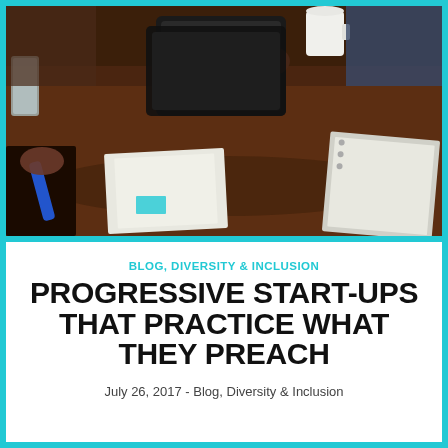[Figure (photo): People sitting around a dark wooden conference table with papers, a tablet, notebook, and a glass of water. Hands visible, suggesting a business meeting.]
BLOG, DIVERSITY & INCLUSION
PROGRESSIVE START-UPS THAT PRACTICE WHAT THEY PREACH
July 26, 2017 - Blog, Diversity & Inclusion